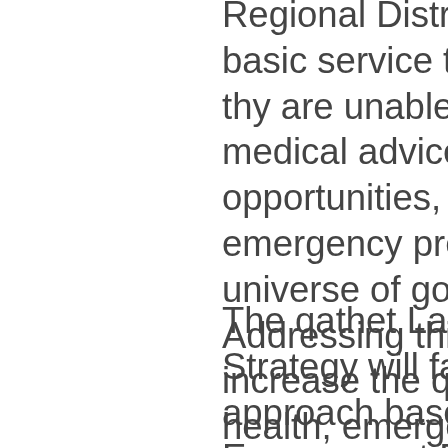Regional District (qRD) do not meet basic service targets, which means thy are unable to connect with medical advice, educational opportunities, employment, tourism, emergency preparedness and a universe of goods and services. Addressing this digital divide will increase the quality of life, improve health, emergency and educational services and allow communities to attract investment and participate in a broader range of economic activity.
The qathet Last Mile Connectivity Strategy will facilitate a collaborative approach based on qRD's Public Engagement Framework on a community by community